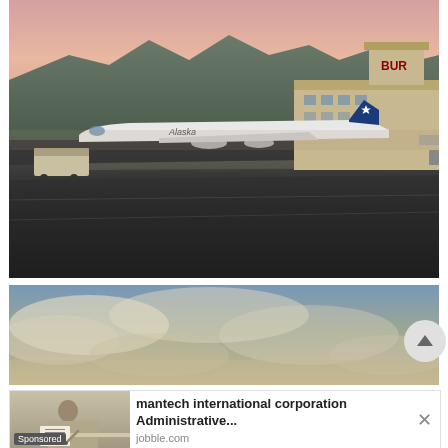[Figure (photo): Alaska Airlines aircraft parked at BUR (Burbank Bob Hope Airport) terminal on the tarmac with mountains in the background and a pink/orange sky at dusk.]
[Figure (photo): Aerial or elevated view of a dramatic cloudy sky with warm tones, possibly taken from an aircraft window.]
[Figure (photo): Advertisement image showing a person at a desk, writing or working on documents.]
mantech international corporation Administrative...
jobble.com
Sponsored